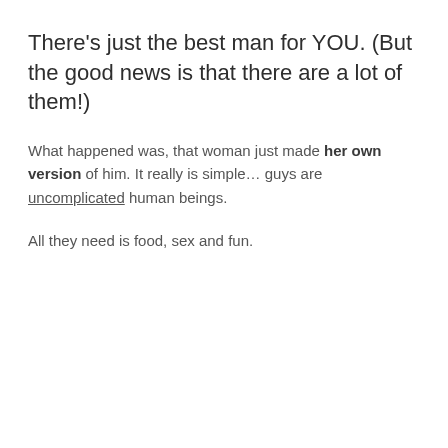There's just the best man for YOU. (But the good news is that there are a lot of them!)
What happened was, that woman just made her own version of him. It really is simple… guys are uncomplicated human beings.
All they need is food, sex and fun.